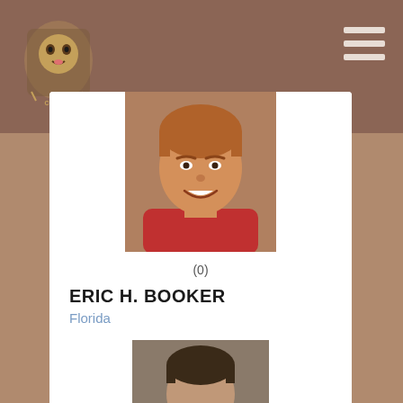[Figure (logo): Cougar mascot logo for a golf/sports organization in brown and gold]
[Figure (photo): Headshot of Eric H. Booker, a man with reddish-brown hair wearing a red shirt, smiling]
(0)
ERIC H. BOOKER
Florida
Eric Booker is a PGA Professional in Fort Myers, FL. The PGA of America comprises nearly 29,000 PGA
View Profile
[Figure (photo): Partial headshot of a second person visible at the bottom of the page]